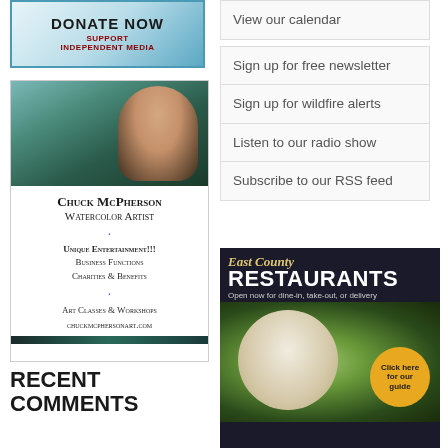[Figure (illustration): Donate Now - Support Independent Media banner with blue gradient background]
[Figure (illustration): Chuck McPherson Watercolor Artist advertisement with photo of artist and landscape painting, listing unique entertainment, business functions, charities & benefits, art classes & workshops, chuckmcphersonart.com]
RECENT COMMENTS
View our calendar
Sign up for free newsletter
Sign up for wildfire alerts
Listen to our radio show
Subscribe to our RSS feed
[Figure (illustration): East County Restaurants - Open now for dine-in, take-out, or delivery. Click here for our guide.]